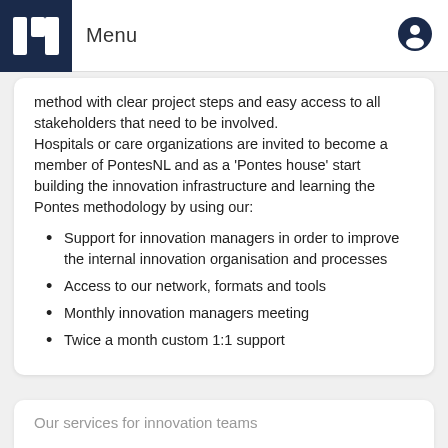Menu
method with clear project steps and easy access to all stakeholders that need to be involved.
Hospitals or care organizations are invited to become a member of PontesNL and as a 'Pontes house' start building the innovation infrastructure and learning the Pontes methodology by using our:
Support for innovation managers in order to improve the internal innovation organisation and processes
Access to our network, formats and tools
Monthly innovation managers meeting
Twice a month custom 1:1 support
Our services for innovation teams